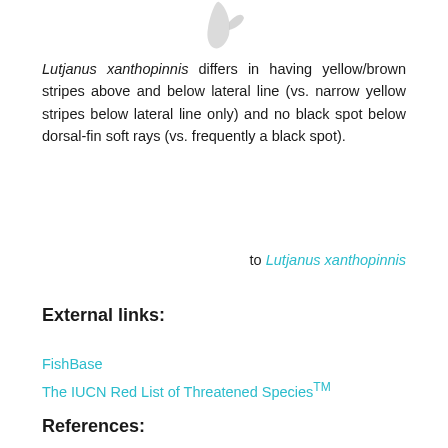[Figure (illustration): Partial fish illustration visible at top of page, showing tail/fin area]
Lutjanus xanthopinnis differs in having yellow/brown stripes above and below lateral line (vs. narrow yellow stripes below lateral line only) and no black spot below dorsal-fin soft rays (vs. frequently a black spot).
to Lutjanus xanthopinnis
External links:
FishBase
The IUCN Red List of Threatened Species™
References: